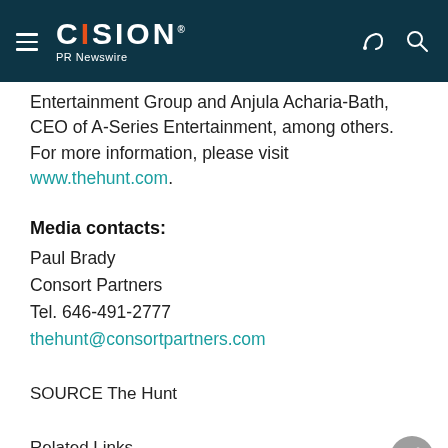CISION PR Newswire
Entertainment Group and Anjula Acharia-Bath, CEO of A-Series Entertainment, among others. For more information, please visit www.thehunt.com.
Media contacts:
Paul Brady
Consort Partners
Tel. 646-491-2777
thehunt@consortpartners.com
SOURCE The Hunt
Related Links